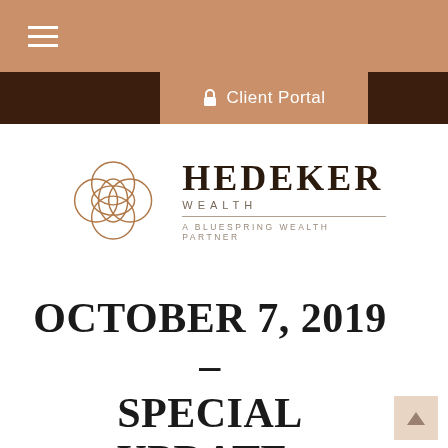Navigation menu with hamburger icon
Client Portal
[Figure (logo): Hedeker Wealth logo — geometric interlocking circles in copper/brown color, with text HEDEKER WEALTH / A BLUESPRING WEALTH PARTNER]
OCTOBER 7, 2019 – SPECIAL UPDATE: QUARTERLY REPORT